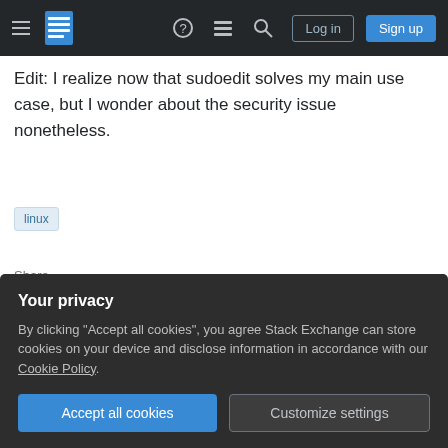Stack Exchange navigation bar with hamburger menu, logo, help, chat, search icons, Log in and Sign up buttons
Edit: I realize now that sudoedit solves my main use case, but I wonder about the security issue nonetheless.
linux
Share
Improve this question
Follow
edited Aug 9, 2012 at 15:45
asked Aug 9, 2012 at 15:19
Sam King
Your privacy
By clicking "Accept all cookies", you agree Stack Exchange can store cookies on your device and disclose information in accordance with our Cookie Policy.
Accept all cookies
Customize settings